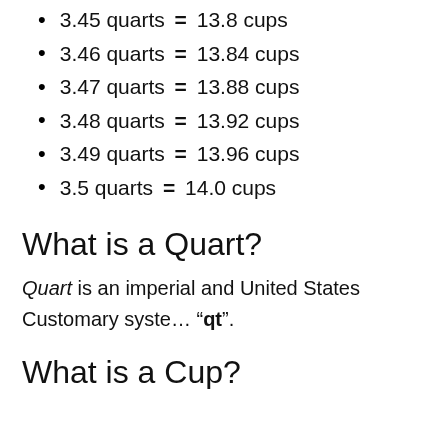3.45 quarts = 13.8 cups
3.46 quarts = 13.84 cups
3.47 quarts = 13.88 cups
3.48 quarts = 13.92 cups
3.49 quarts = 13.96 cups
3.5 quarts = 14.0 cups
What is a Quart?
Quart is an imperial and United States Customary system "qt".
What is a Cup?